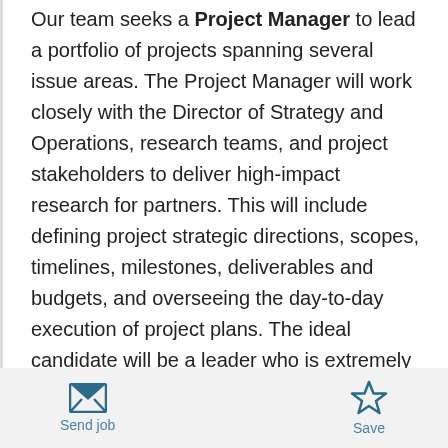Our team seeks a Project Manager to lead a portfolio of projects spanning several issue areas. The Project Manager will work closely with the Director of Strategy and Operations, research teams, and project stakeholders to deliver high-impact research for partners. This will include defining project strategic directions, scopes, timelines, milestones, deliverables and budgets, and overseeing the day-to-day execution of project plans. The ideal candidate will be a leader who is extremely organized, detail-oriented, a strong communicator, diplomatic, and comfortable coordinating across a large and diverse organizational structure. Public Exchange is a new
Send job | Save